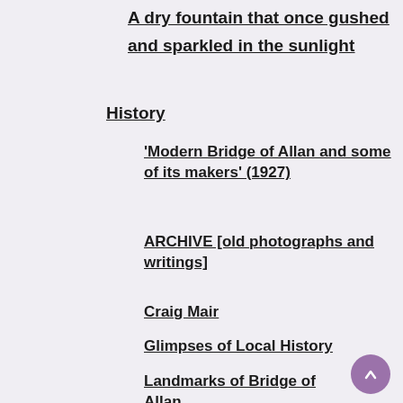A dry fountain that once gushed and sparkled in the sunlight
History
'Modern Bridge of Allan and some of its makers' (1927)
ARCHIVE [old photographs and writings]
Craig Mair
Glimpses of Local History
Landmarks of Bridge of Allan